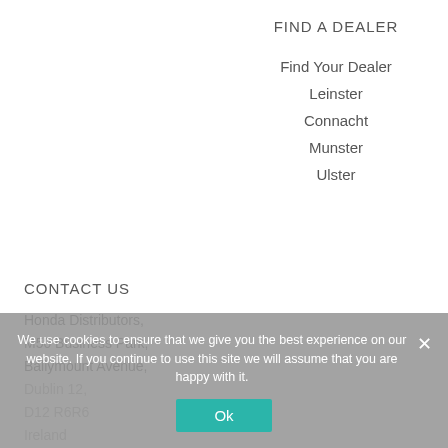FIND A DEALER
Find Your Dealer
Leinster
Connacht
Munster
Ulster
CONTACT US
Honda Distributors,
M50 Business Park,
Ballymount Avenue,
Dublin 12,
D12 R6R6
Ireland
Email: hello@hondaireland.ie
We use cookies to ensure that we give you the best experience on our website. If you continue to use this site we will assume that you are happy with it.